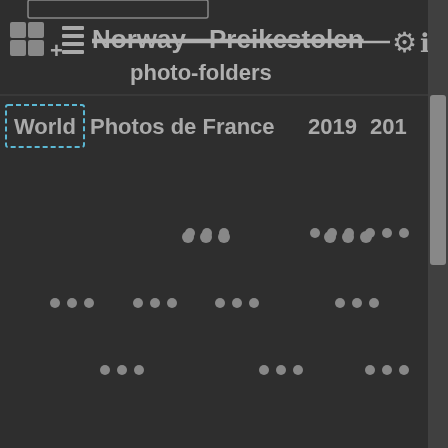[Figure (screenshot): Photo folder browser app UI showing Norway - Preikestolen photo-folders header with grid/list icons, settings and info buttons, tab navigation showing World, Photos de France, 2019, 201... tabs, and a loading grid of photo thumbnails represented by ellipsis dot groups on dark background with scrollbar]
Norway - Preikestolen photo-folders
World  Photos de France  2019  201
... ... ... ... ... ... ... ... ... ... ... ... ... ... ...